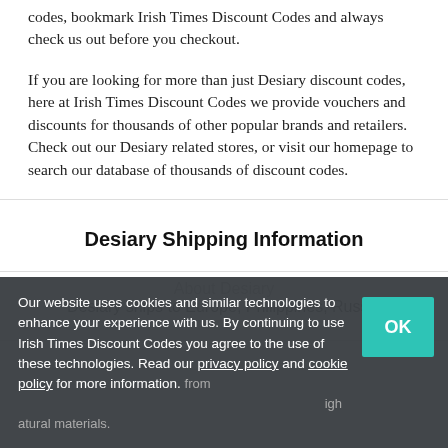codes, bookmark Irish Times Discount Codes and always check us out before you checkout.
If you are looking for more than just Desiary discount codes, here at Irish Times Discount Codes we provide vouchers and discounts for thousands of other popular brands and retailers. Check out our Desiary related stores, or visit our homepage to search our database of thousands of discount codes.
Desiary Shipping Information
Desiary ships to Europe, Philippines, Russia
About Desiary
Our website uses cookies and similar technologies to enhance your experience with us. By continuing to use Irish Times Discount Codes you agree to the use of these technologies. Read our privacy policy and cookie policy for more information.